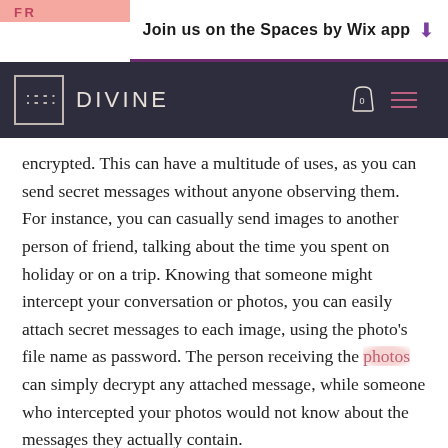FR
Join us on the Spaces by Wix app ↓
[Figure (screenshot): Dark navigation bar with DIVINE logo (steam icon in box), shopping bag icon with 0 count, and hamburger menu icon in pink/rose color]
the ck was encrypted. This can have a multitude of uses, as you can send secret messages without anyone observing them. For instance, you can casually send images to another person of friend, talking about the time you spent on holiday or on a trip. Knowing that someone might intercept your conversation or photos, you can easily attach secret messages to each image, using the photo's file name as password. The person receiving the photos can simply decrypt any attached message, while someone who intercepted your photos would not know about the messages they actually contain.